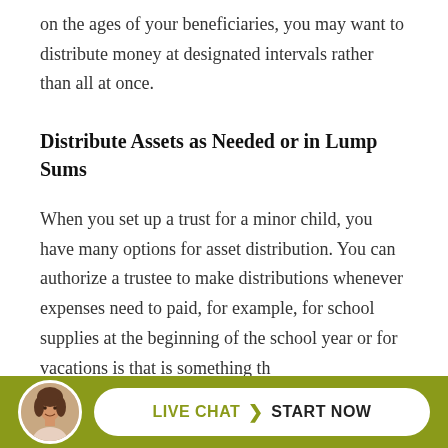on the ages of your beneficiaries, you may want to distribute money at designated intervals rather than all at once.
Distribute Assets as Needed or in Lump Sums
When you set up a trust for a minor child, you have many options for asset distribution. You can authorize a trustee to make distributions whenever expenses need to paid, for example, for school supplies at the beginning of the school year or for vacations is that is something th...
[Figure (other): Live chat call-to-action bar with a woman's avatar photo, 'LIVE CHAT' label in olive green, a chevron arrow, and 'START NOW' in bold black text on a white pill-shaped button, all on an olive/yellow-green background bar.]